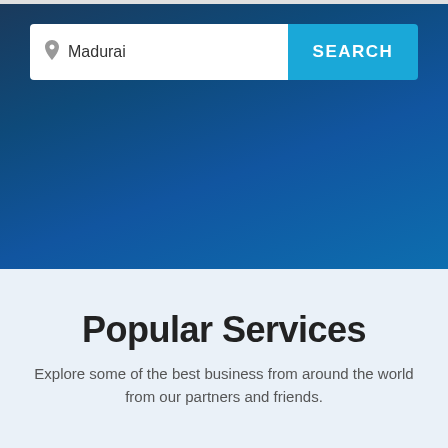[Figure (screenshot): Search bar with location input showing 'Madurai' and a blue SEARCH button, on a dark blue gradient hero background]
Popular Services
Explore some of the best business from around the world from our partners and friends.